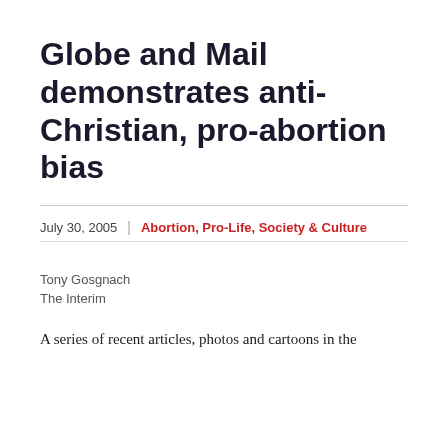Globe and Mail demonstrates anti-Christian, pro-abortion bias
July 30, 2005  |  Abortion, Pro-Life, Society & Culture
Tony Gosgnach
The Interim
A series of recent articles, photos and cartoons in the